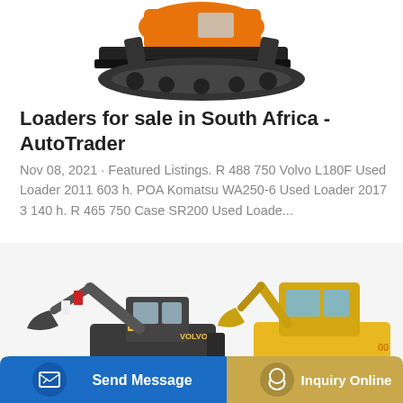[Figure (photo): Partial view of an orange and black wheeled loader/bulldozer machine, cropped at top of page]
Loaders for sale in South Africa - AutoTrader
Nov 08, 2021 · Featured Listings. R 488 750 Volvo L180F Used Loader 2011 603 h. POA Komatsu WA250-6 Used Loader 2017 3 140 h. R 465 750 Case SR200 Used Loade...
[Figure (other): Learn More button - blue rounded rectangle]
[Figure (photo): Two construction excavators side by side - a black Volvo branded mini excavator on the left and a yellow excavator on the right]
[Figure (other): Bottom action bar with Send Message button (blue) and Inquiry Online button (gold/tan)]